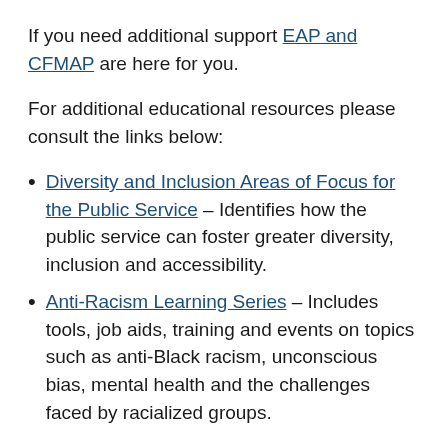If you need additional support EAP and CFMAP are here for you.
For additional educational resources please consult the links below:
Diversity and Inclusion Areas of Focus for the Public Service – Identifies how the public service can foster greater diversity, inclusion and accessibility.
Anti-Racism Learning Series – Includes tools, job aids, training and events on topics such as anti-Black racism, unconscious bias, mental health and the challenges faced by racialized groups.